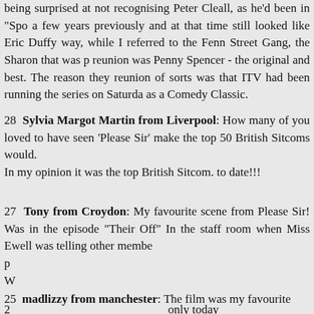being surprised at not recognising Peter Cleall, as he'd been in "Spo a few years previously and at that time still looked like Eric Duffy way, while I referred to the Fenn Street Gang, the Sharon that was p reunion was Penny Spencer - the original and best. The reason they reunion of sorts was that ITV had been running the series on Saturda as a Comedy Classic.
28 Sylvia Margot Martin from Liverpool: How many of you loved to have seen 'Please Sir' make the top 50 British Sitcoms would.
In my opinion it was the top British Sitcom. to date!!!
27 Tony from Croydon: My favourite scene from Please Sir! Was in the episode "Their Off" In the staff room when Miss Ewell was telling other membe p W
2  only today
2  ust 1996. Th s  y 1980s and m  nd a charism M  ho are also n u
[Figure (screenshot): Cookie consent overlay dialog with dark background. Text reads: 'This website uses cookies to ensure you get the best experience on our website.' with a 'Learn more' link and a 'Got it!' button with light teal/mint background.]
25 madlizzy from manchester: The film was my favourite